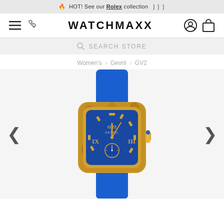🔥 HOT! See our Rolex collection >>>
[Figure (screenshot): WatchMaxx website header with hamburger menu, phone icon, WATCHMAXX logo, user account and shopping bag icons]
SEARCH STORE
Women's > Gevril > GV2
[Figure (photo): GV2 by Gevril women's watch with gold rectangular case, blue textured dial with Roman numerals and gold markers, small seconds subdial, and bright blue leather strap]